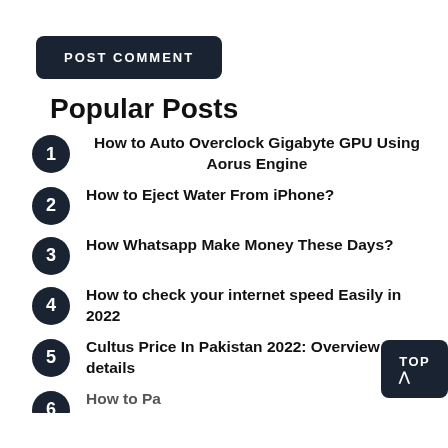POST COMMENT
Popular Posts
How to Auto Overclock Gigabyte GPU Using Aorus Engine
How to Eject Water From iPhone?
How Whatsapp Make Money These Days?
How to check your internet speed Easily in 2022
Cultus Price In Pakistan 2022: Overview and details
How to Pa... (partial)